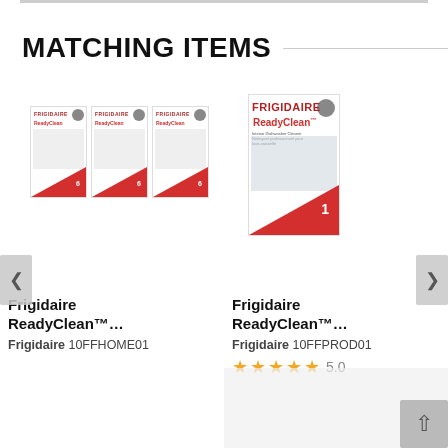MATCHING ITEMS
[Figure (photo): Three Frigidaire ReadyClean product boxes displayed side by side]
[Figure (photo): Single Frigidaire ReadyClean dishwasher cleaner product box]
Frigidaire ReadyClean™...
Frigidaire 10FFHOME01
Frigidaire ReadyClean™...
Frigidaire 10FFPROD01
5.0